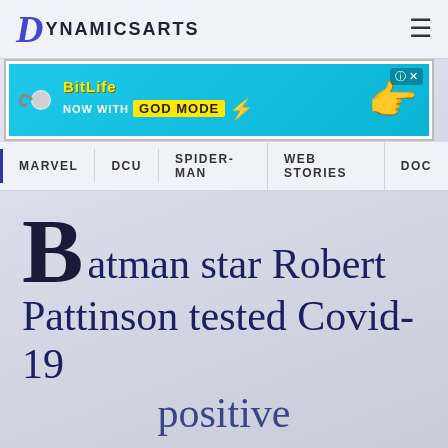DynamicsArts
[Figure (screenshot): BitLife advertisement banner: 'BitLife NOW WITH GOD MODE' on cyan background with lightning bolt and pointing hand graphic]
MARVEL   DCU   SPIDER-MAN   WEB STORIES   DOC
Batman star Robert Pattinson tested Covid-19 positive